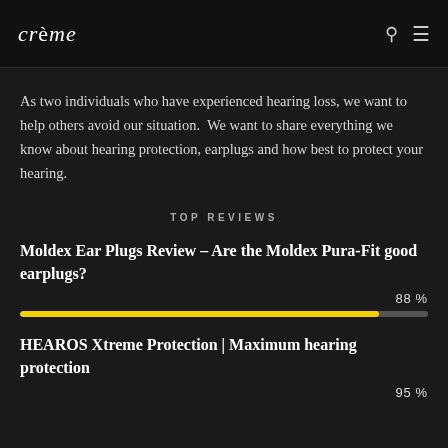crème
As two individuals who have experienced hearing loss, we want to help others avoid our situation.  We want to share everything we know about hearing protection, earplugs and how best to protect your hearing.
TOP REVIEWS
Moldex Ear Plugs Review – Are the Moldex Pura-Fit good earplugs?
88%
HEAROS Xtreme Protection | Maximum hearing protection
95%